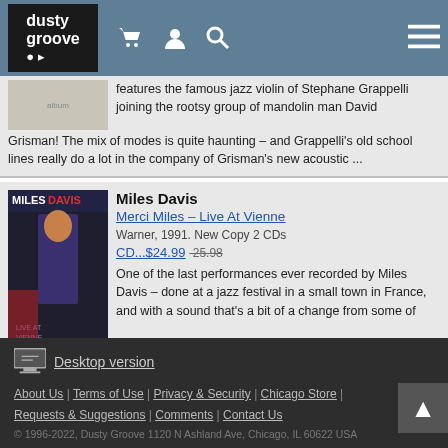dusty groove — navigation header with logo, cart, account, search, and menu icons
features the famous jazz violin of Stephane Grappelli joining the rootsy group of mandolin man David Grisman! The mix of modes is quite haunting – and Grappelli's old school lines really do a lot in the company of Grisman's new acoustic ...
Miles Davis
Merci Miles – Live At Vienne
Warner, 1991. New Copy 2 CDs
CD...$24.99 25.98
One of the last performances ever recorded by Miles Davis – done at a jazz festival in a small town in France, and with a sound that's a bit of a change from some of his studio work at the time! There's a great sense of warmth here – a quality that may come from Miles' use of two ...
Desktop version | About Us | Terms of Use | Privacy & Security | Chicago Store | Requests & Suggestions | Comments | Contact Us | © 1996-2022, Dusty Groove 1120 N Ashland Ave, Chicago, IL 60622 USA